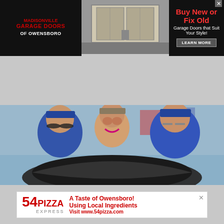[Figure (photo): Top advertisement banner: Madisonville Garage Doors of Owensboro ad on left, garage door photo in middle, 'Buy New or Fix Old - Garage Doors that Suit Your Style! LEARN MORE' on right]
[Figure (screenshot): Navigation bar with hamburger menu, WOMI 99.1FM 1490AM logo in blue, and red play button on right]
LISTEN NOW ▶  PIT REPORTERS
[Figure (photo): Three men posing and smiling, two wearing blue baseball caps and blue shirts, one in the center shirtless and making an excited expression, with a large dark fish or stingray in the foreground]
[Figure (photo): Bottom advertisement: 54 Pizza Express - 'A Taste of Owensboro! Using Local Ingredients Visit www.54pizza.com']